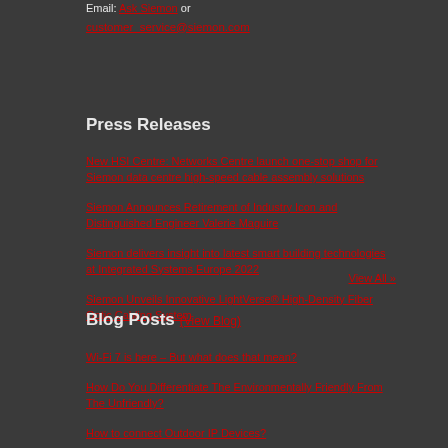Email: Ask Siemon or customer_service@siemon.com
Press Releases
New HSI Centre: Networks Centre launch one-stop shop for Siemon data centre high-speed cable assembly solutions
Siemon Announces Retirement of Industry Icon and Distinguished Engineer Valerie Maguire
Siemon delivers insight into latest smart building technologies at Integrated Systems Europe 2022
Siemon Unveils Innovative LightVerse® High-Density Fiber Optic Cabling System
View All »
Blog Posts (View Blog)
Wi-Fi 7 is here – But what does that mean?
How Do You Differentiate The Environmentally Friendly From The Unfriendly?
How to connect Outdoor IP Devices?